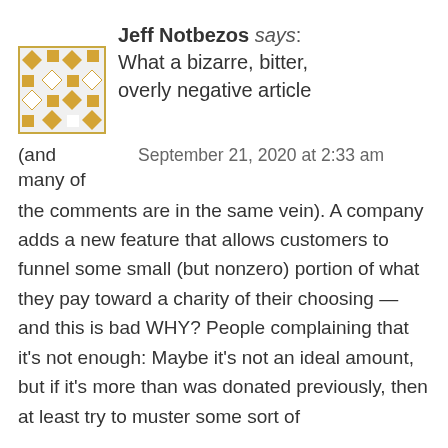[Figure (illustration): Avatar image with a geometric diamond/square pattern in gold and white on a light background]
Jeff Notbezos says: What a bizarre, bitter, overly negative article
(and      September 21, 2020 at 2:33 am
many of
the comments are in the same vein). A company adds a new feature that allows customers to funnel some small (but nonzero) portion of what they pay toward a charity of their choosing — and this is bad WHY? People complaining that it's not enough: Maybe it's not an ideal amount, but if it's more than was donated previously, then at least try to muster some sort of